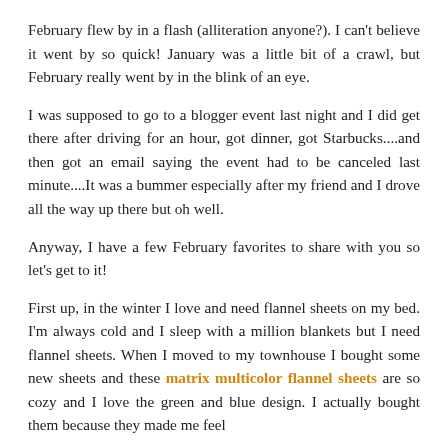February flew by in a flash (alliteration anyone?). I can't believe it went by so quick! January was a little bit of a crawl, but February really went by in the blink of an eye.
I was supposed to go to a blogger event last night and I did get there after driving for an hour, got dinner, got Starbucks....and then got an email saying the event had to be canceled last minute....It was a bummer especially after my friend and I drove all the way up there but oh well.
Anyway, I have a few February favorites to share with you so let's get to it!
First up, in the winter I love and need flannel sheets on my bed. I'm always cold and I sleep with a million blankets but I need flannel sheets. When I moved to my townhouse I bought some new sheets and these matrix multicolor flannel sheets are so cozy and I love the green and blue design. I actually bought them because they made me feel